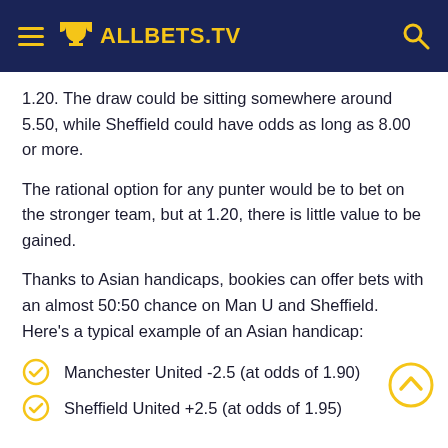ALLBETS.TV
1.20. The draw could be sitting somewhere around 5.50, while Sheffield could have odds as long as 8.00 or more.
The rational option for any punter would be to bet on the stronger team, but at 1.20, there is little value to be gained.
Thanks to Asian handicaps, bookies can offer bets with an almost 50:50 chance on Man U and Sheffield. Here's a typical example of an Asian handicap:
Manchester United -2.5 (at odds of 1.90)
Sheffield United +2.5 (at odds of 1.95)